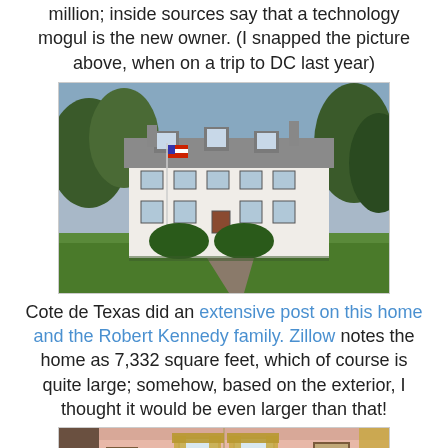million; inside sources say that a technology mogul is the new owner. (I snapped the picture above, when on a trip to DC last year)
[Figure (photo): Exterior photo of a large white colonial mansion with a flag, trees, and manicured bushes in the foreground.]
Cote de Texas did an extensive post on this home and the Robert Kennedy family. Zillow notes the home as 7,332 square feet, which of course is quite large; somehow, based on the exterior, I thought it would be even larger than that!
[Figure (photo): Interior photo of an elegant pink-walled room with a chandelier, fireplace, framed paintings, and gold curtains.]